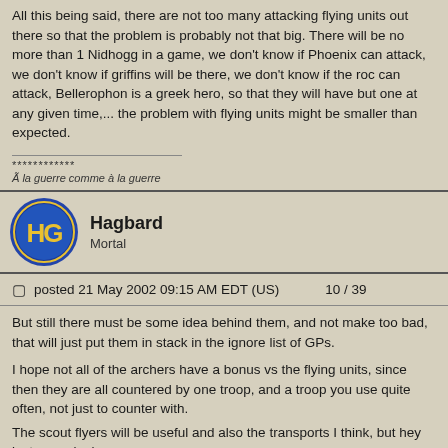All this being said, there are not too many attacking flying units out there so that the problem is probably not that big. There will be no more than 1 Nidhogg in a game, we don't know if Phoenix can attack, we don't know if griffins will be there, we don't know if the roc can attack, Bellerophon is a greek hero, so that they will have but one at any given time,... the problem with flying units might be smaller than expected.
************
Ã la guerre comme à la guerre
Hagbard
Mortal
posted 21 May 2002 09:15 AM EDT (US)    10 / 39
But still there must be some idea behind them, and not make too bad, that will just put them in stack in the ignore list of GPs.
I hope not all of the archers have a bonus vs the flying units, since then they are all countered by one troop, and a troop you use quite often, not just to counter with.
The scout flyers will be useful and also the transports I think, but hey just my opionion.
When children blow themself up it is called stupidity. When soldiers do it is called Heroism.

It is with mixed feelings you sit down on a hot toilet seat.

Behind every succesful AoM player there is .........ME.